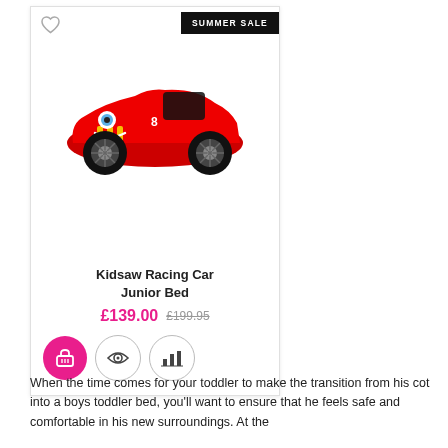[Figure (photo): Product card showing a Kidsaw Racing Car Junior Bed — a red race car shaped children's bed with cartoon eyes and wheels, displayed on a white background product card with a 'SUMMER SALE' black banner in the top right corner and a heart wishlist icon in the top left. Below the product image are the product title, prices, and action buttons including a pink shopping basket button, an eye/view button, and a bar chart/compare button.]
When the time comes for your toddler to make the transition from his cot into a boys toddler bed, you'll want to ensure that he feels safe and comfortable in his new surroundings. At the